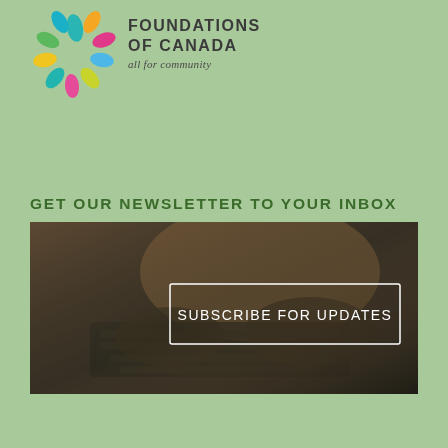[Figure (logo): Community Foundations of Canada logo: colorful teardrop/petal shapes arranged in a circular burst pattern, with text 'FOUNDATIONS OF CANADA' and tagline 'all for community']
GET OUR NEWSLETTER TO YOUR INBOX
[Figure (photo): Dark-toned photo of a person's hands typing on a laptop keyboard, with a white-bordered rectangle overlay containing the text 'SUBSCRIBE FOR UPDATES' in white letters]